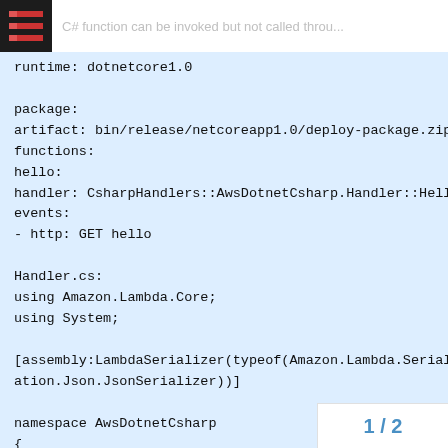C# function can be invoked but not called throu...
runtime: dotnetcore1.0

package:
artifact: bin/release/netcoreapp1.0/deploy-package.zip
functions:
hello:
handler: CsharpHandlers::AwsDotnetCsharp.Handler::Hello
events:
- http: GET hello

Handler.cs:
using Amazon.Lambda.Core;
using System;

[assembly:LambdaSerializer(typeof(Amazon.Lambda.Serialization.Json.JsonSerializer))]

namespace AwsDotnetCsharp
{
public class Handler
1 / 2